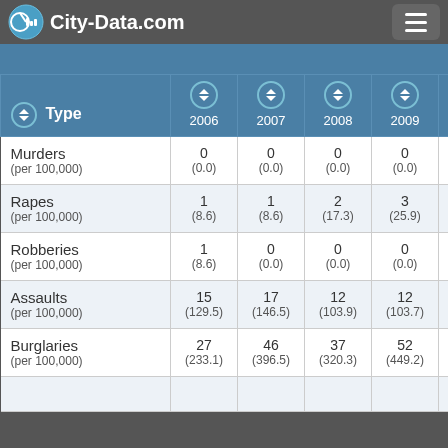City-Data.com
| Type | 2006 | 2007 | 2008 | 2009 | 2010 |
| --- | --- | --- | --- | --- | --- |
| Murders (per 100,000) | 0 (0.0) | 0 (0.0) | 0 (0.0) | 0 (0.0) | 0 (0.0) |
| Rapes (per 100,000) | 1 (8.6) | 1 (8.6) | 2 (17.3) | 3 (25.9) | 0 (0.0) |
| Robberies (per 100,000) | 1 (8.6) | 0 (0.0) | 0 (0.0) | 0 (0.0) | 0 (0.0) |
| Assaults (per 100,000) | 15 (129.5) | 17 (146.5) | 12 (103.9) | 12 (103.7) | 9 (78.1) |
| Burglaries (per 100,000) | 27 (233.1) | 46 (396.5) | 37 (320.3) | 52 (449.2) | 40 (347.0) |